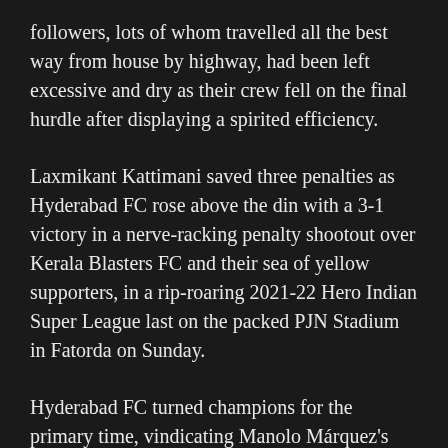followers, lots of whom travelled all the best way from house by highway, had been left excessive and dry as their crew fell on the final hurdle after displaying a spirited efficiency.
Laxmikant Kattimani saved three penalties as Hyderabad FC rose above the din with a 3-1 victory in a nerve-racking penalty shootout over Kerala Blasters FC and their sea of yellow supporters, in a rip-roaring 2021-22 Hero Indian Super League last on the packed PJN Stadium in Fatorda on Sunday.
Hyderabad FC turned champions for the primary time, vindicating Manolo Márquez's imaginative and prescient of a well-rounded crew with the right mix of youth and expertise, nevertheless it took a lottery to determine the winners in an evenly-contested summit conflict that